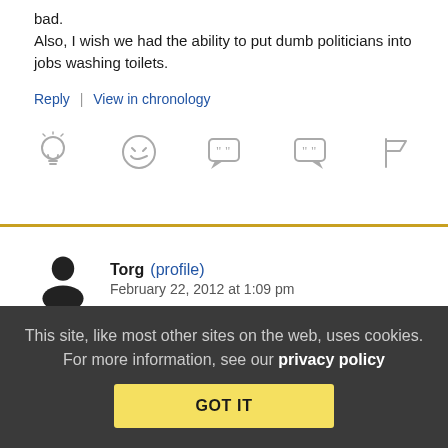bad.
Also, I wish we had the ability to put dumb politicians into jobs washing toilets.
Reply | View in chronology
[Figure (other): Row of five icons: lightbulb, laughing face, speech bubble with quote marks, speech bubble with quote marks, flag]
Torg (profile)  February 22, 2012 at 1:09 pm
Re:
On the verge? You mean there are still people who read
This site, like most other sites on the web, uses cookies. For more information, see our privacy policy
GOT IT